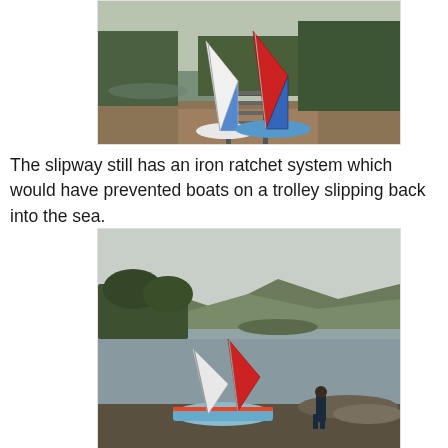[Figure (photo): Two sailing dinghies with coloured sails (white/blue and red/blue) on a rocky slipway with water and trees in the background. The slipway appears to have iron ratchet rail tracks.]
The slipway still has an iron ratchet system which would have prevented boats on a trolley slipping back into the sea.
[Figure (photo): Two sailing dinghies with colourful sails moored at a rocky shoreline with calm water, wooded hills and mountains in the background. A person in a wetsuit stands beside the boats.]